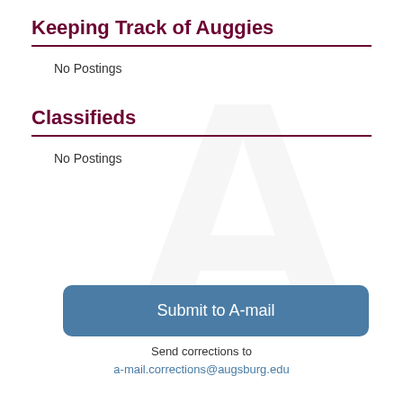Keeping Track of Auggies
No Postings
Classifieds
No Postings
Submit to A-mail
Send corrections to
a-mail.corrections@augsburg.edu